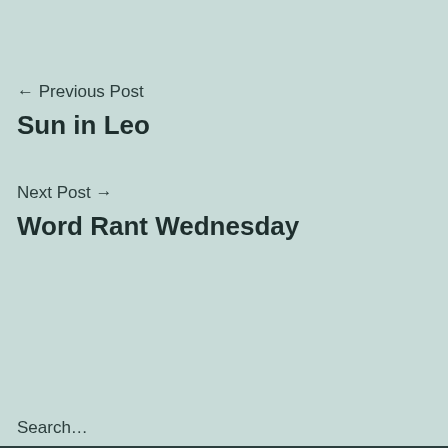← Previous Post
Sun in Leo
Next Post →
Word Rant Wednesday
Search…